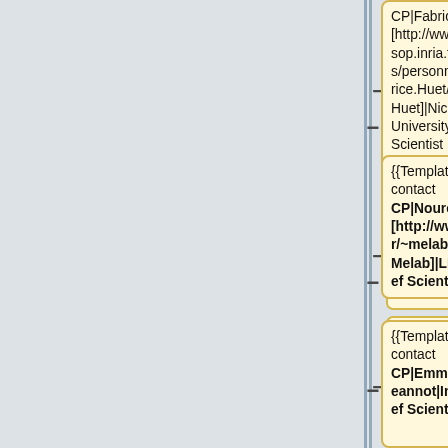[Figure (other): Wiki template table showing rows of public contact entries with yellow (CP) and blue (CT3) cells, minus and plus operators between columns, and a vertical separator line.]